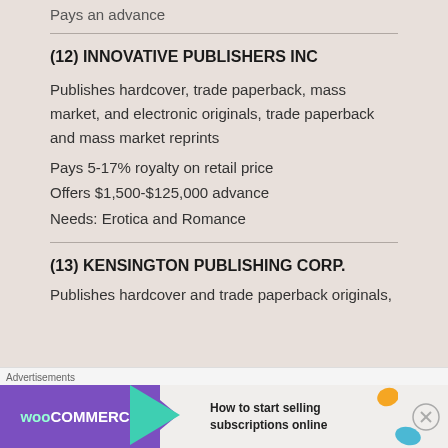Pays an advance
(12) INNOVATIVE PUBLISHERS INC
Publishes hardcover, trade paperback, mass market, and electronic originals, trade paperback and mass market reprints
Pays 5-17% royalty on retail price
Offers $1,500-$125,000 advance
Needs: Erotica and Romance
(13) KENSINGTON PUBLISHING CORP.
Publishes hardcover and trade paperback originals,
[Figure (other): WooCommerce advertisement banner: 'How to start selling subscriptions online']